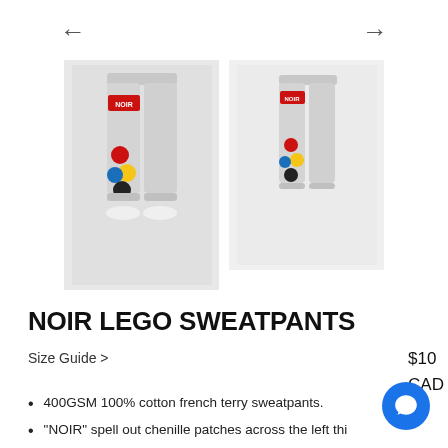[Figure (photo): Navigation arrows (left and right) above product thumbnail images of NOIR LEGO sweatpants in grey with colorful patches]
NOIR LEGO SWEATPANTS
Size Guide >
$10... CAD
400GSM 100% cotton french terry sweatpants.
"NOIR" spell out chenille patches across the left thi...
Scorpion embroidery logo.
2 front pockets and 1 back pocket.